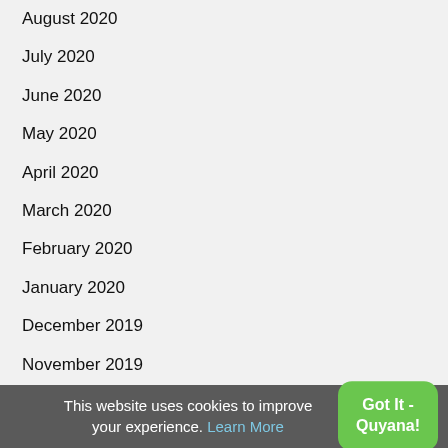August 2020
July 2020
June 2020
May 2020
April 2020
March 2020
February 2020
January 2020
December 2019
November 2019
October 2019
September 2019
August 2019
July 2019
This website uses cookies to improve your experience. Learn More
Got It - Quyana!